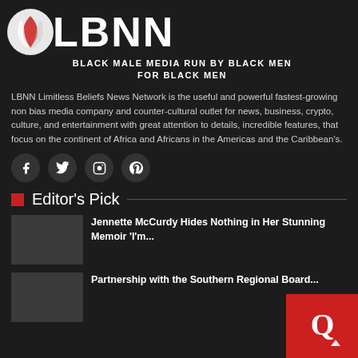LBNN BLACK MALE MEDIA RUN BY BLACK MEN FOR BLACK MEN
LBNN Limitless Beliefs News Network is the useful and powerful fastest-growing non bias media company and counter-cultural outlet for news, business, crypto, culture, and entertainment with great attention to details, incredible features, that focus on the continent of Africa and Africans in the Americas and the Caribbean's.
[Figure (illustration): Social media icons: Facebook, Twitter, Instagram, Pinterest in dark circular buttons]
Editor's Pick
Jennette McCurdy Hides Nothing in Her Stunning Memoir 'I'm...
Partnership with the Southern Regional Board...
[Figure (logo): Red circular Quora-style Q logo badge in bottom right corner]